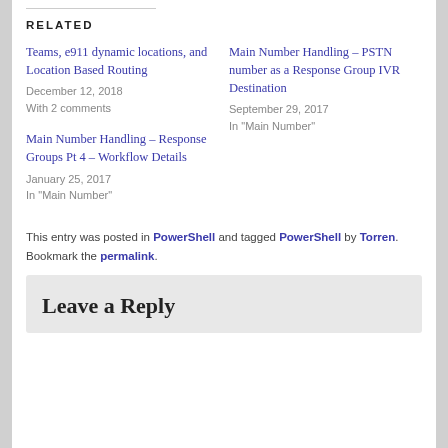RELATED
Teams, e911 dynamic locations, and Location Based Routing
December 12, 2018
With 2 comments
Main Number Handling – PSTN number as a Response Group IVR Destination
September 29, 2017
In "Main Number"
Main Number Handling – Response Groups Pt 4 – Workflow Details
January 25, 2017
In "Main Number"
This entry was posted in PowerShell and tagged PowerShell by Torren. Bookmark the permalink.
Leave a Reply